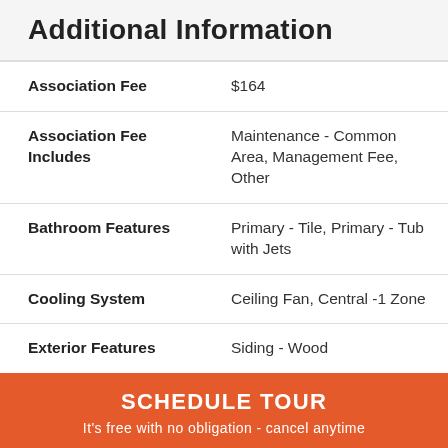Additional Information
| Field | Value |
| --- | --- |
| Association Fee | $164 |
| Association Fee Includes | Maintenance - Common Area, Management Fee, Other |
| Bathroom Features | Primary - Tile, Primary - Tub with Jets |
| Cooling System | Ceiling Fan, Central -1 Zone |
| Exterior Features | Siding - Wood |
| Fireplace Description | Gas Burning, Gas Starter, Living Room |
SCHEDULE TOUR
It's free with no obligation - cancel anytime